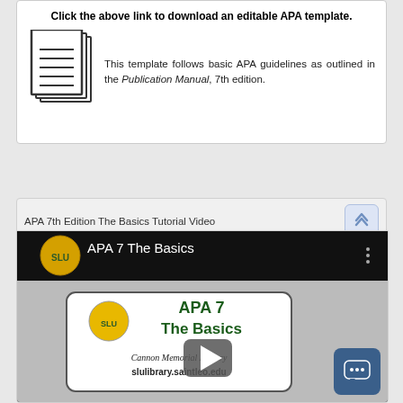Click the above link to download an editable APA template.
This template follows basic APA guidelines as outlined in the Publication Manual, 7th edition.
APA 7th Edition The Basics Tutorial Video
[Figure (screenshot): YouTube video thumbnail showing 'APA 7 The Basics' by Cannon Memorial Library, slulibrary.saintleo.edu, with play button overlay and Saint Leo University logo]